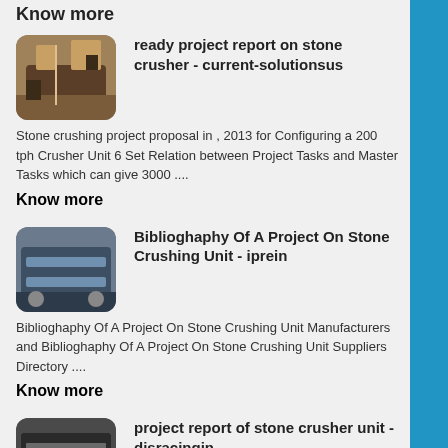Know more
[Figure (photo): Industrial machinery thumbnail image 1]
ready project report on stone crusher - current-solutionsus
Stone crushing project proposal in , 2013 for Configuring a 200 tph Crusher Unit 6 Set Relation between Project Tasks and Master Tasks which can give 3000 ....
Know more
[Figure (photo): Industrial machinery thumbnail image 2]
Biblioghaphy Of A Project On Stone Crushing Unit - iprein
Biblioghaphy Of A Project On Stone Crushing Unit Manufacturers and Biblioghaphy Of A Project On Stone Crushing Unit Suppliers Directory ....
Know more
[Figure (photo): Industrial machinery thumbnail image 3]
project report of stone crusher unit - djsracingin
Stone Crusher Project Report For Bank Loan In India project report on stone crushing unit; gold processing plant designs; mfg of machine for iron ore india; A copy ...